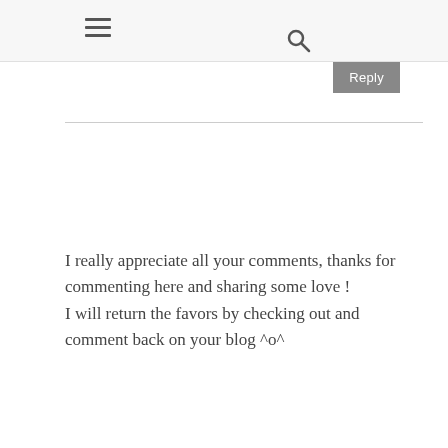≡  🔍
Reply
I really appreciate all your comments, thanks for commenting here and sharing some love !
I will return the favors by checking out and comment back on your blog ^o^